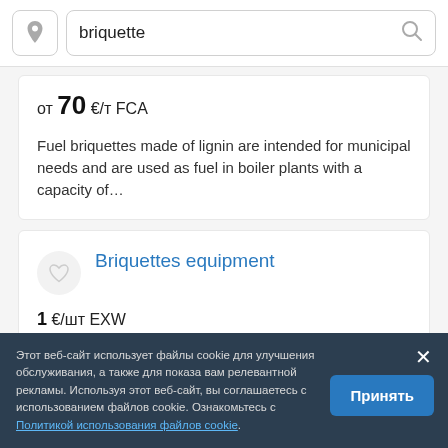briquette (search bar)
от 70 €/т FCA
Fuel briquettes made of lignin are intended for municipal needs and are used as fuel in boiler plants with a capacity of...
Briquettes equipment
1 €/шт EXW
Этот веб-сайт использует файлы cookie для улучшения обслуживания, а также для показа вам релевантной рекламы. Используя этот веб-сайт, вы соглашаетесь с использованием файлов cookie. Ознакомьтесь с Политикой использования файлов cookie.